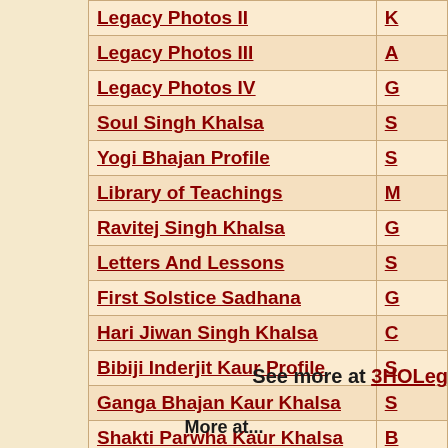| Title |  |
| --- | --- |
| Legacy Photos II | K |
| Legacy Photos III | A |
| Legacy Photos IV | G |
| Soul Singh Khalsa | S |
| Yogi Bhajan Profile | S |
| Library of Teachings | M |
| Ravitej Singh Khalsa | G |
| Letters And Lessons | S |
| First Solstice Sadhana | G |
| Hari Jiwan Singh Khalsa | C |
| Bibiji Inderjit Kaur Profile | S |
| Ganga Bhajan Kaur Khalsa | S |
| Shakti Parwha Kaur Khalsa | B |
| Solstice Sadhana Celebration | S |
See more at 3HOLeg...
More at...